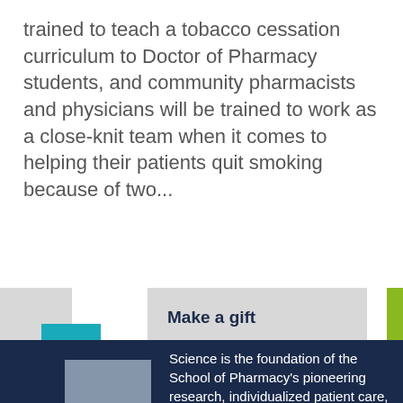trained to teach a tobacco cessation curriculum to Doctor of Pharmacy students, and community pharmacists and physicians will be trained to work as a close-knit team when it comes to helping their patients quit smoking because of two...
[Figure (illustration): Decorative graphic with overlapping colored squares (light gray, teal, dark green, lime green, main gray panel) and a 'Make a gift' label. A lime green square appears top right.]
Science is the foundation of the School of Pharmacy's pioneering research, individualized patient care, and unparalleled PharmD and...